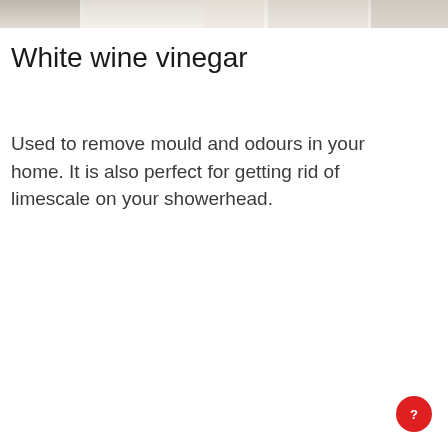[Figure (photo): Top strip of a photo showing white/cream background, likely a bottle or kitchen item]
White wine vinegar
Used to remove mould and odours in your home. It is also perfect for getting rid of limescale on your showerhead.